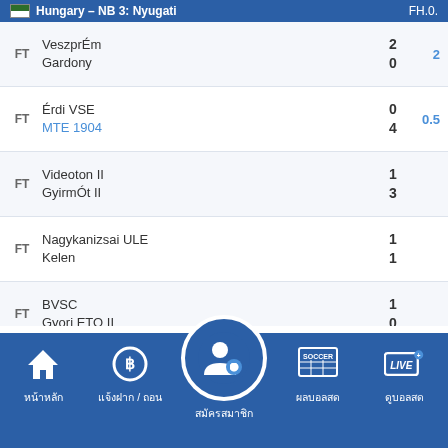Hungary - NB 3: Nyugati
FT | VeszprÉm vs Gardony | 2-0 | odds: 2
FT | Érdi VSE vs MTE 1904 | 0-4 | odds: 0.5
FT | Videoton II vs GyirmÓt II | 1-3
FT | Nagykanizsai ULE vs Kelen | 1-1
FT | BVSC vs Gyori ETO II | 1-0
FT | AndráShida vs Papai Perutz | 0-3 | odds: 1
Puskás II | 0
หน้าหลัก | แจ้งฝาก / ถอน | สมัครสมาชิก | ผลบอลสด | ดูบอลสด